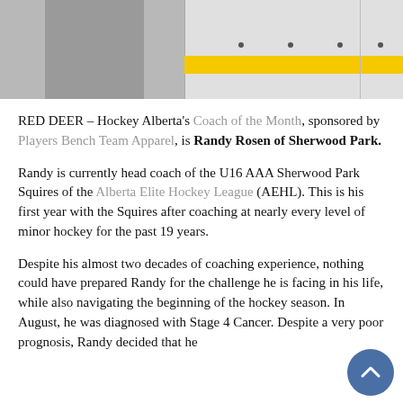[Figure (photo): Banner photo showing a hockey coach standing on or near an ice rink on the left side, and an ice rink boards with yellow stripe on the right side.]
RED DEER – Hockey Alberta's Coach of the Month, sponsored by Players Bench Team Apparel, is Randy Rosen of Sherwood Park.
Randy is currently head coach of the U16 AAA Sherwood Park Squires of the Alberta Elite Hockey League (AEHL). This is his first year with the Squires after coaching at nearly every level of minor hockey for the past 19 years.
Despite his almost two decades of coaching experience, nothing could have prepared Randy for the challenge he is facing in his life, while also navigating the beginning of the hockey season. In August, he was diagnosed with Stage 4 Cancer. Despite a very poor prognosis, Randy decided that he